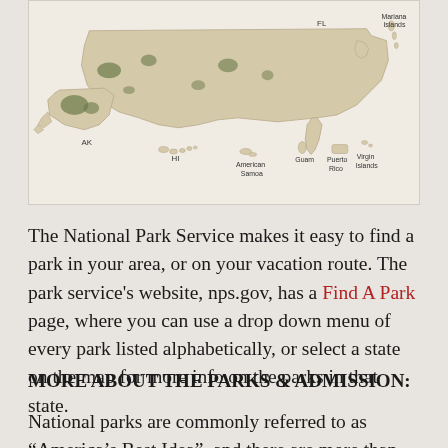[Figure (map): Map of the United States including territories: AK (Alaska), HI (Hawaii), American Samoa, Guam, Puerto Rico, Virgin Islands, Mariana Islands, FL visible. States shaded in tan/beige with green highlights for national park areas.]
The National Park Service makes it easy to find a park in your area, or on your vacation route. The park service's website, nps.gov, has a Find A Park page, where you can use a drop down menu of every park listed alphabetically, or select a state on the map for more info on the parks in that state.
MORE ABOUT THE PARKS & ADMISSION:
National parks are commonly referred to as “America’s Best Idea”, and there are more than